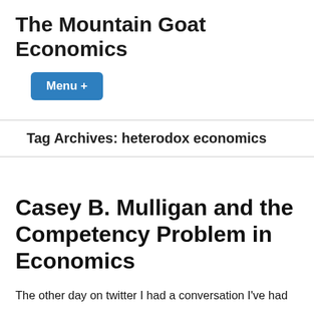The Mountain Goat Economics
Menu +
Tag Archives: heterodox economics
Casey B. Mulligan and the Competency Problem in Economics
The other day on twitter I had a conversation I've had